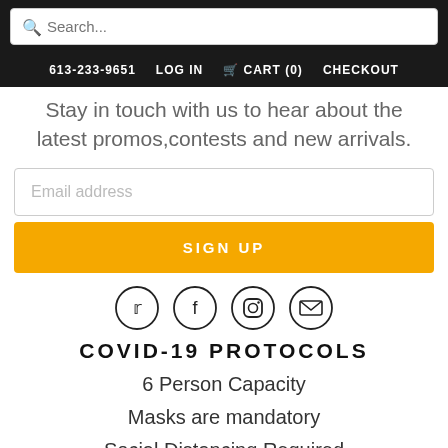613-233-9651   LOG IN   CART (0)   CHECKOUT
Stay in touch with us to hear about the latest promos,contests and new arrivals.
Email address
SIGN UP
[Figure (infographic): Four social media icons in circles: Twitter, Facebook, Instagram, Email]
COVID-19 PROTOCOLS
6 Person Capacity
Masks are mandatory
Social Distancing Required